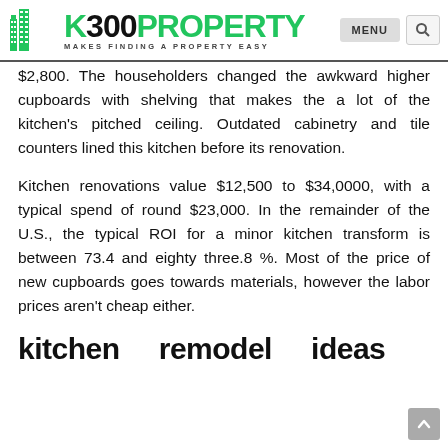K300PROPERTY — MAKES FINDING A PROPERTY EASY
$2,800. The householders changed the awkward higher cupboards with shelving that makes the a lot of the kitchen's pitched ceiling. Outdated cabinetry and tile counters lined this kitchen before its renovation.
Kitchen renovations value $12,500 to $34,0000, with a typical spend of round $23,000. In the remainder of the U.S., the typical ROI for a minor kitchen transform is between 73.4 and eighty three.8 %. Most of the price of new cupboards goes towards materials, however the labor prices aren't cheap either.
kitchen   remodel   ideas